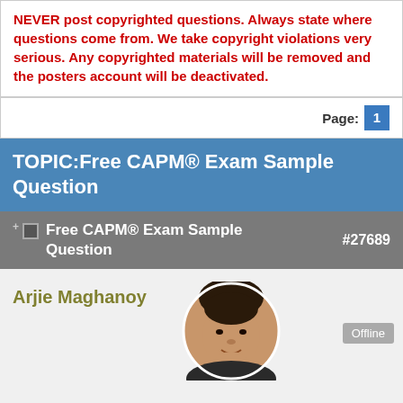NEVER post copyrighted questions. Always state where questions come from. We take copyright violations very serious. Any copyrighted materials will be removed and the posters account will be deactivated.
Page: 1
TOPIC: Free CAPM® Exam Sample Question
Free CAPM® Exam Sample Question #27689
Arjie Maghanoy
[Figure (photo): Circular profile photo of Arjie Maghanoy, a young man smiling, wearing a dark hoodie]
Offline
User is blocked  ●●●●●●  Posts: 182  Karma: 20